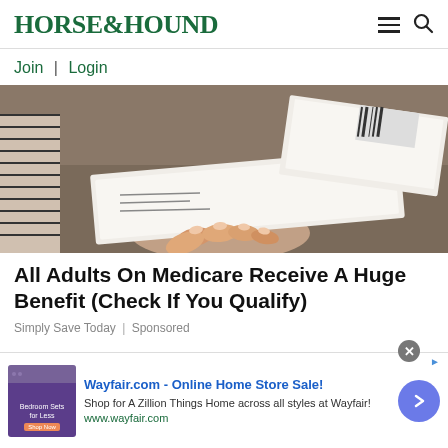HORSE&HOUND
Join | Login
[Figure (photo): A hand holding what appears to be a check or financial document, with other papers and documents scattered on a surface in the background.]
All Adults On Medicare Receive A Huge Benefit (Check If You Qualify)
Simply Save Today | Sponsored
Wayfair.com - Online Home Store Sale!
Shop for A Zillion Things Home across all styles at Wayfair!
www.wayfair.com